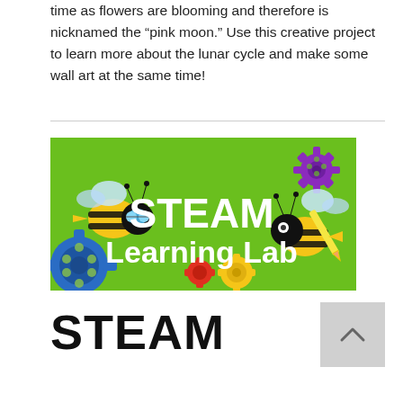time as flowers are blooming and therefore is nicknamed the “pink moon.” Use this creative project to learn more about the lunar cycle and make some wall art at the same time!
[Figure (illustration): STEAM Learning Lab banner with green background, cartoon bees, colorful gears, and white bold text reading 'STEAM Learning Lab']
STEAM